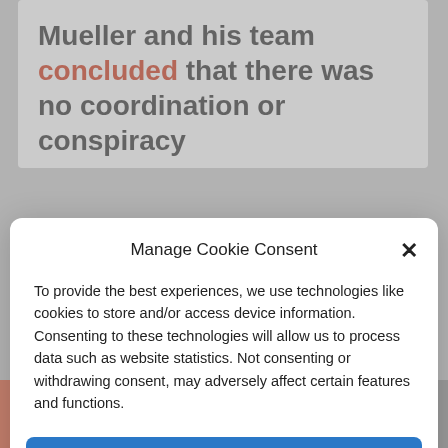Mueller and his team concluded that there was no coordination or conspiracy
under Hillary Clinton’s nose.
Manage Cookie Consent
To provide the best experiences, we use technologies like cookies to store and/or access device information. Consenting to these technologies will allow us to process data such as website statistics. Not consenting or withdrawing consent, may adversely affect certain features and functions.
Accept
Cookie Policy   Privacy Policy